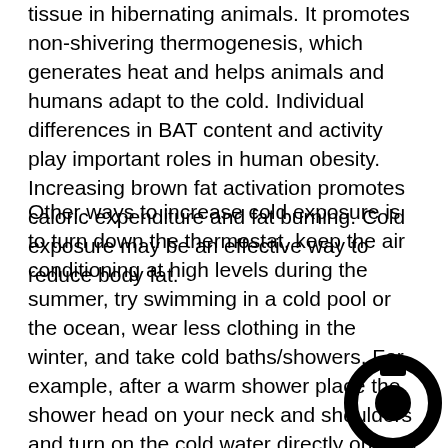tissue in hibernating animals. It promotes non-shivering thermogenesis, which generates heat and helps animals and humans adapt to the cold. Individual differences in BAT content and activity play important roles in human obesity. Increasing brown fat activation promotes caloric expenditure and fat burning. Cold exposure may be an effective way to reduce body fat.
Other ways to increase cold exposure is to turn down the thermostat, keep the air conditioning at high levels during the summer, try swimming in a cold pool or the ocean, wear less clothing in the winter, and take cold baths/showers. For example, after a warm shower place the shower head on your neck and shoulders and turn on the cold water directly on your shoulder blades. This will activate BAT in the scapula region of the neck and shoulder blades. The cold will activate brown fat thermogenesis and energy expenditure. It’s quite invigorating, but only recommended in healthy individuals because cold exposure can induce sympathetic nervous system activity, cause
[Figure (logo): Circular logo/icon in black at the bottom right corner]